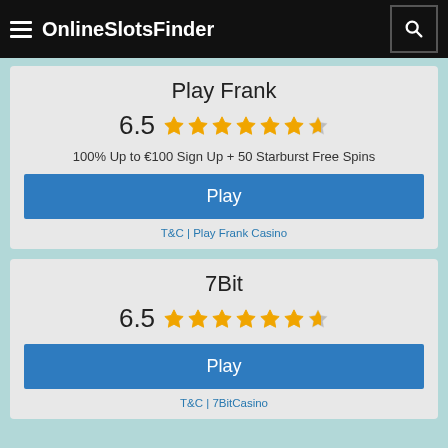OnlineSlotsFinder
Play Frank
6.5 ★★★★★★★☆ (6.5 out of 10 stars)
100% Up to €100 Sign Up + 50 Starburst Free Spins
Play
T&C | Play Frank Casino
7Bit
6.5 ★★★★★★★☆ (6.5 out of 10 stars)
Play
T&C | 7BitCasino